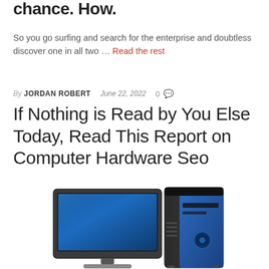chance. How.
So you go surfing and search for the enterprise and doubtless discover one in all two … Read the rest
By JORDAN ROBERT   June 22, 2022   0
If Nothing is Read by You Else Today, Read This Report on Computer Hardware Seo
[Figure (illustration): Illustration of a desktop computer setup with a widescreen monitor and a blue/black tower PC case]